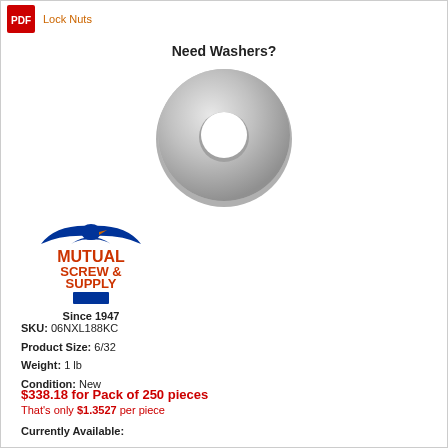Lock Nuts
Need Washers?
[Figure (photo): A flat metal washer (ring shape) with a circular hole in the center, metallic gray color]
[Figure (logo): Mutual Screw & Supply logo with a blue bird/eagle shape on top and orange/red text reading MUTUAL SCREW & SUPPLY with a blue base element]
Since 1947
SKU: 06NXL188KC
Product Size: 6/32
Weight: 1 lb
Condition: New
$338.18 for Pack of 250 pieces
That's only $1.3527 per piece
Currently Available: